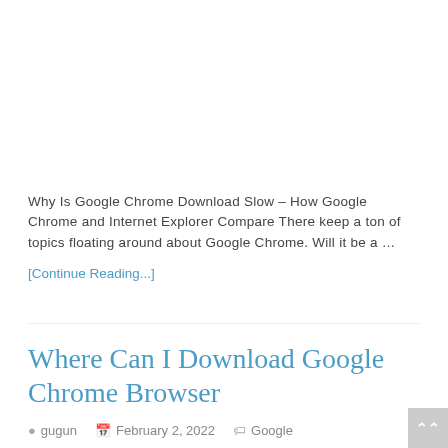Why Is Google Chrome Download Slow – How Google Chrome and Internet Explorer Compare There keep a ton of topics floating around about Google Chrome. Will it be a …
[Continue Reading...]
Where Can I Download Google Chrome Browser
gugun   February 2, 2022   Google